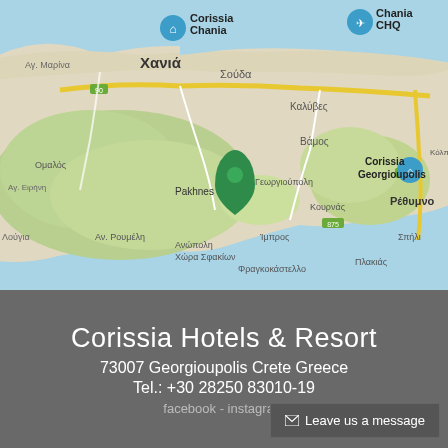[Figure (map): Google Maps view of Crete, Greece showing locations of Corissia Chania hotel, Corissia Georgioupolis hotel, Chania CHQ airport, and Pakhnes mountain peak. Map shows coastal region with Greek place names including Χανιά, Σούδα, Καλύβες, Βάμος, Ρέθυμνο, Γεωργιούπολη, Κουρνάς, Ίμπρος, Αν. Ρουμέλη, Ανώπολη, Χώρα Σφακίων, Φραγκοκάστελλο, Πλακιάς.]
Corissia Hotels & Resort
73007 Georgioupolis Crete Greece
Tel.: +30 28250 83010-19
facebook - instagram
Leave us a message